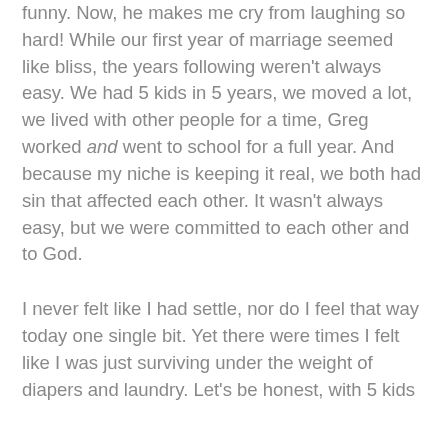funny. Now, he makes me cry from laughing so hard! While our first year of marriage seemed like bliss, the years following weren't always easy. We had 5 kids in 5 years, we moved a lot, we lived with other people for a time, Greg worked and went to school for a full year. And because my niche is keeping it real, we both had sin that affected each other. It wasn't always easy, but we were committed to each other and to God.
I never felt like I had settle, nor do I feel that way today one single bit. Yet there were times I felt like I was just surviving under the weight of diapers and laundry. Let's be honest, with 5 kids